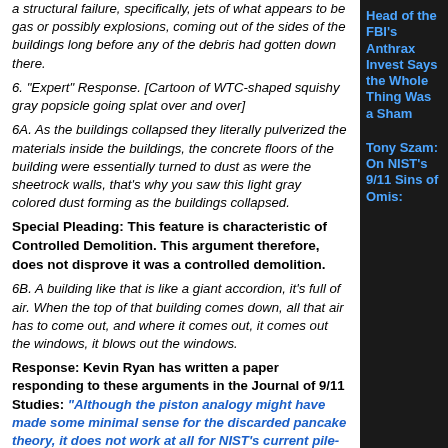a structural failure, specifically, jets of what appears to be gas or possibly explosions, coming out of the sides of the buildings long before any of the debris had gotten down there.
6. "Expert" Response. [Cartoon of WTC-shaped squishy gray popsicle going splat over and over]
6A. As the buildings collapsed they literally pulverized the materials inside the buildings, the concrete floors of the building were essentially turned to dust as were the sheetrock walls, that's why you saw this light gray colored dust forming as the buildings collapsed.
Special Pleading: This feature is characteristic of Controlled Demolition. This argument therefore, does not disprove it was a controlled demolition.
6B. A building like that is like a giant accordion, it's full of air. When the top of that building comes down, all that air has to come out, and where it comes out, it comes out the windows, it blows out the windows.
Response: Kevin Ryan has written a paper responding to these arguments in the Journal of 9/11 Studies: "Although the piston analogy might have made some minimal sense for the discarded pancake theory, it does not work at all for NIST's current pile-driver theory."
6C. There was just an enormous amount of energy that was being formed by the collapse of the building
Head of the FBI's Anthrax Investigation Says the Whole Thing Was a Sham
Tony Szam: On NIST's 9/11 Sins of Omis: